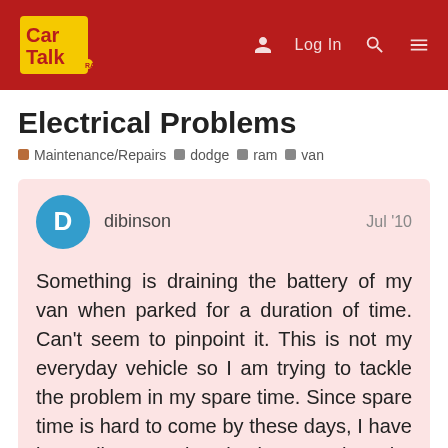Car Talk — Log In
Electrical Problems
Maintenance/Repairs  dodge  ram  van
dibinson  Jul '10
Something is draining the battery of my van when parked for a duration of time. Can't seem to pinpoint it. This is not my everyday vehicle so I am trying to tackle the problem in my spare time. Since spare time is hard to come by these days, I have been disconnecting the battery when the vehicle is parked. In doing so; am I draining the battery by connecting and disconnecting every time I plan to move it?
1 / 5